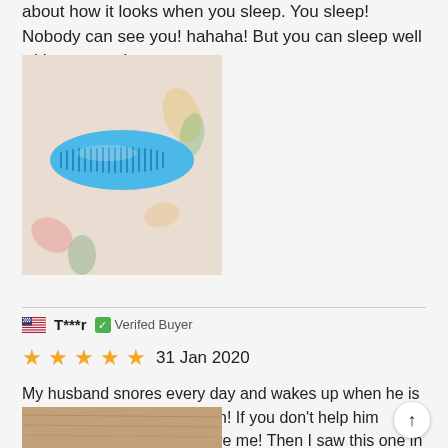about how it looks when you sleep. You sleep! Nobody can see you! hahaha! But you can sleep well without snore!
[Figure (photo): A blue anti-snoring device placed on a floral fabric background]
T***r   Verifed Buyer
★★★★★  31 Jan 2020
My husband snores every day and wakes up when he is asleep. I really can't love him! If you don't help him improve, you'll have to torture me! Then I saw this one in the evening. It's the real one. It's super portable! Since the use of a lot of small snoring, the effect is good, this can sleep a safe sleep!
[Figure (photo): Partial image of a wooden surface (product photo, cropped at bottom of page)]